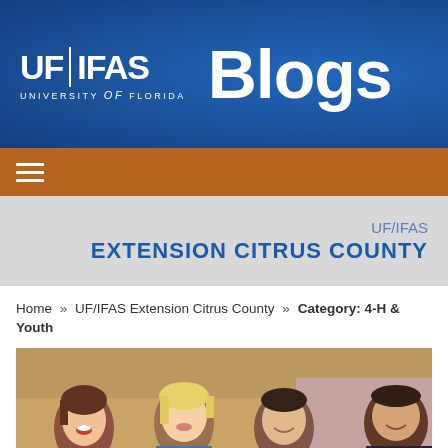[Figure (logo): UF|IFAS University of Florida Blogs header logo on blue background]
[Figure (other): Orange navigation bar with hamburger menu icon]
[Figure (other): UF/IFAS Extension Citrus County banner on gray background]
Home » UF/IFAS Extension Citrus County » Category: 4-H & Youth
[Figure (photo): Photo of four young people sitting at a table in a kitchen, smiling and talking]